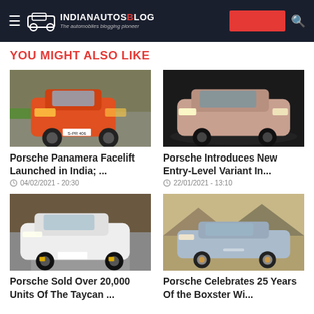IndianAutosBlog - The automobiles blogging pioneer
YOU MIGHT ALSO LIKE
[Figure (photo): Orange Porsche Panamera Facelift on a race track, front view]
Porsche Panamera Facelift Launched in India; ...
04/02/2021 - 20:30
[Figure (photo): Rose gold Porsche Taycan on dark studio background, front three-quarter view]
Porsche Introduces New Entry-Level Variant In...
22/01/2021 - 13:10
[Figure (photo): White Porsche Taycan on a mountain road, dynamic side view]
Porsche Sold Over 20,000 Units Of The Taycan ...
[Figure (photo): Silver Porsche 718 Boxster on a desert road, side view]
Porsche Celebrates 25 Years Of the Boxster Wi...